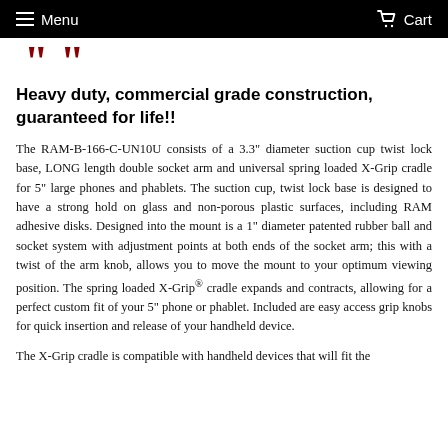Menu   Cart
[Figure (logo): Partial red logo/quotation marks visible at top of content area]
Heavy duty, commercial grade construction, guaranteed for life!!
The RAM-B-166-C-UN10U consists of a 3.3" diameter suction cup twist lock base, LONG length double socket arm and universal spring loaded X-Grip cradle for 5" large phones and phablets. The suction cup, twist lock base is designed to have a strong hold on glass and non-porous plastic surfaces, including RAM adhesive disks. Designed into the mount is a 1" diameter patented rubber ball and socket system with adjustment points at both ends of the socket arm; this with a twist of the arm knob, allows you to move the mount to your optimum viewing position. The spring loaded X-Grip® cradle expands and contracts, allowing for a perfect custom fit of your 5" phone or phablet. Included are easy access grip knobs for quick insertion and release of your handheld device.
The X-Grip cradle is compatible with handheld devices that will fit the